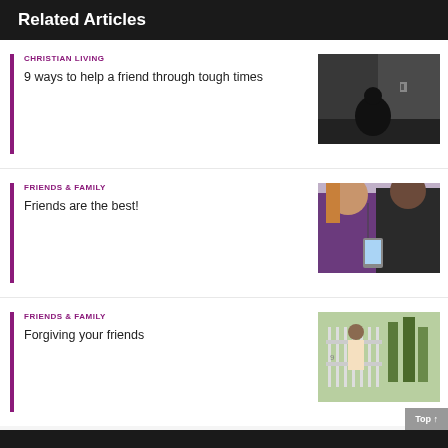Related Articles
CHRISTIAN LIVING
9 ways to help a friend through tough times
[Figure (photo): Black and white photo of a person sitting alone in a corner, hunched over]
FRIENDS & FAMILY
Friends are the best!
[Figure (photo): Two teenage girls looking at a smartphone together]
FRIENDS & FAMILY
Forgiving your friends
[Figure (photo): Person standing near a fence with graffiti and trees in background]
Top ↑